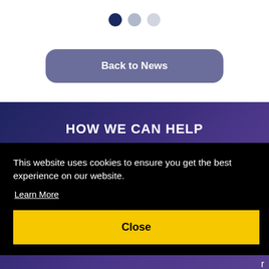[Figure (other): Three pagination dots: first dot is dark navy (active), second is medium grey, third is light grey]
Back to News
HOW WE CAN HELP
rs
o
ts, upport r
This website uses cookies to ensure you get the best experience on our website.
Learn More
Close